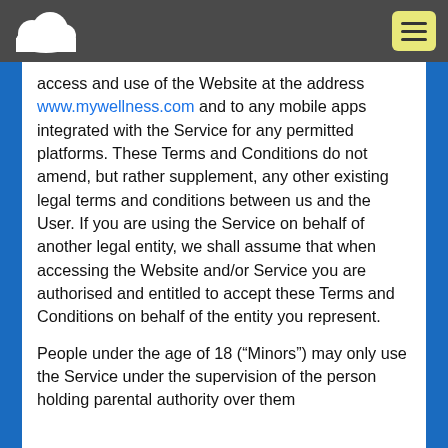mywellness.com header with cloud logo and menu button
access and use of the Website at the address www.mywellness.com and to any mobile apps integrated with the Service for any permitted platforms. These Terms and Conditions do not amend, but rather supplement, any other existing legal terms and conditions between us and the User. If you are using the Service on behalf of another legal entity, we shall assume that when accessing the Website and/or Service you are authorised and entitled to accept these Terms and Conditions on behalf of the entity you represent.
People under the age of 18 (“Minors”) may only use the Service under the supervision of the person holding parental authority over them